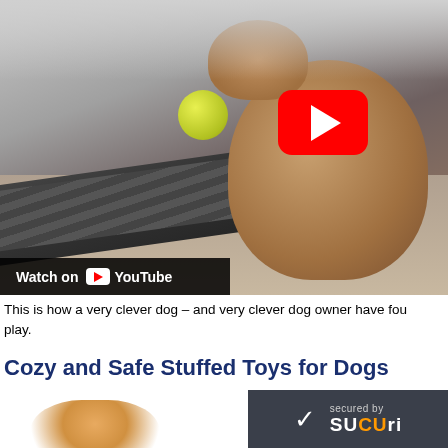[Figure (screenshot): Video thumbnail showing a dog on a treadmill holding a tennis ball in its mouth, with a red YouTube play button overlay and a 'Watch on YouTube' bar at the bottom left.]
This is how a very clever dog – and very clever dog owner have fou play.
Cozy and Safe Stuffed Toys for Dogs
[Figure (photo): Partial photo of a dog visible at the bottom of the page]
[Figure (logo): Sucuri security badge showing 'secured by SUCURI' with a checkmark]